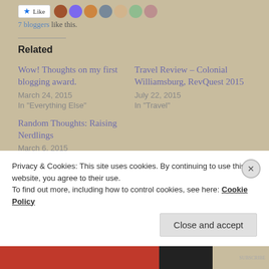7 bloggers like this.
Related
Wow! Thoughts on my first blogging award.
March 24, 2015
In "Everything Else"
Travel Review – Colonial Williamsburg, RevQuest 2015
July 22, 2015
In "Travel"
Random Thoughts: Raising Nerdlings
March 6, 2015
In "Random Thoughts"
Privacy & Cookies: This site uses cookies. By continuing to use this website, you agree to their use.
To find out more, including how to control cookies, see here: Cookie Policy
Close and accept